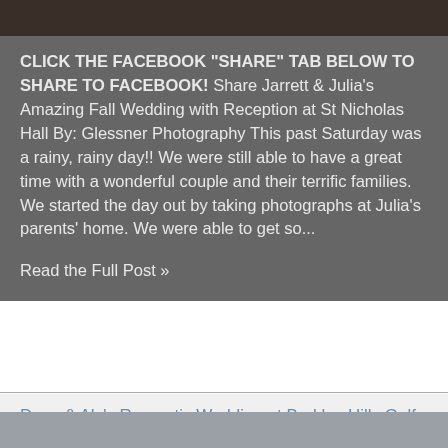[Figure (photo): Dark nature/landscape photo strip at the top of the page]
CLICK THE FACEBOOK "SHARE" TAB BELOW TO SHARE TO FACEBOOK! Share Jarrett & Julia's Amazing Fall Wedding with Reception at St Nicholas Hall By: Glessner Photography This past Saturday was a rainy, rainy day!! We were still able to have a great time with a wonderful couple and their terrific families. We started the day out by taking photographs at Julia's parents' home. We were able to get so...
Read the Full Post »
Dave & Aly's Romantic Wedding at Berkley Hills Golf Course|Glessner Photography
October 08, 2018
2 Comments
[Figure (photo): Gray sky/landscape photo strip at the bottom of the page]